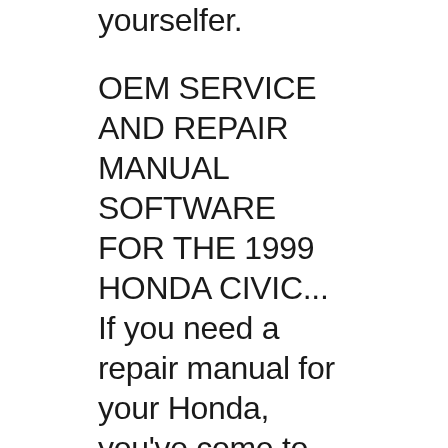yourselfer.
OEM SERVICE AND REPAIR MANUAL SOFTWARE FOR THE 1999 HONDA CIVIC... If you need a repair manual for your Honda, you've come to the right place. Now you can get your repair manual in a convenient digital format. Old paper repair manuals just don't compare! This downloadable repair manual software covers the Honda Civic and is perfect for any do-it-yourselfer. Honda Civic 1999 Workshop Manual Coupe 1.6L DOHC PDF. This webpage contains a comprehensive workshop manual used by Honda garages, auto repair shops, Honda dealerships and home mechanics. With this Honda Civic